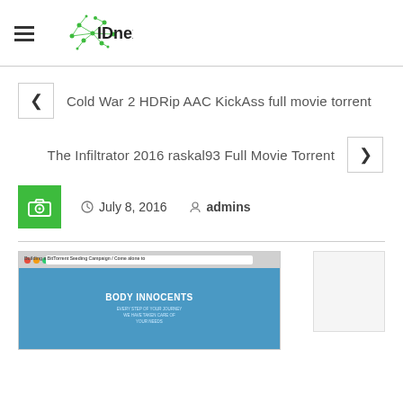IDnext
Cold War 2 HDRip AAC KickAss full movie torrent
The Infiltrator 2016 raskal93 Full Movie Torrent
July 8, 2016  admins
[Figure (screenshot): Screenshot of a webpage titled 'Building a BitTorrent Seeding Campaign' with a blue background showing 'BODY INNOCENTS' text]